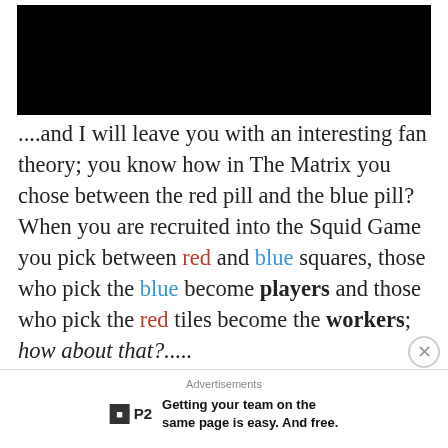[Figure (photo): Black banner image at top of page]
....and I will leave you with an interesting fan theory; you know how in The Matrix you chose between the red pill and the blue pill? When you are recruited into the Squid Game you pick between red and blue squares, those who pick the blue become players and those who pick the red tiles become the workers; how about that?.....
Advertisements — Getting your team on the same page is easy. And free.